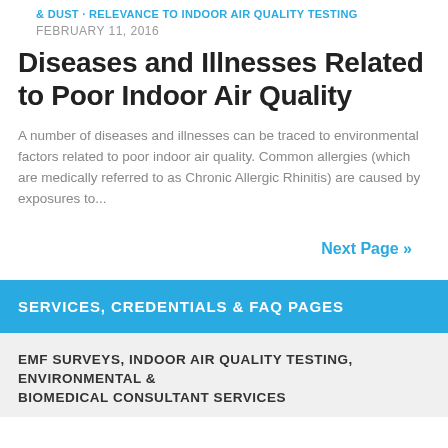& DUST · RELEVANCE TO INDOOR AIR QUALITY TESTING
FEBRUARY 11, 2016
Diseases and Illnesses Related to Poor Indoor Air Quality
A number of diseases and illnesses can be traced to environmental factors related to poor indoor air quality. Common allergies (which are medically referred to as Chronic Allergic Rhinitis) are caused by exposures to...
Next Page »
SERVICES, CREDENTIALS & FAQ PAGES
EMF SURVEYS, INDOOR AIR QUALITY TESTING, ENVIRONMENTAL & BIOMEDICAL CONSULTANT SERVICES